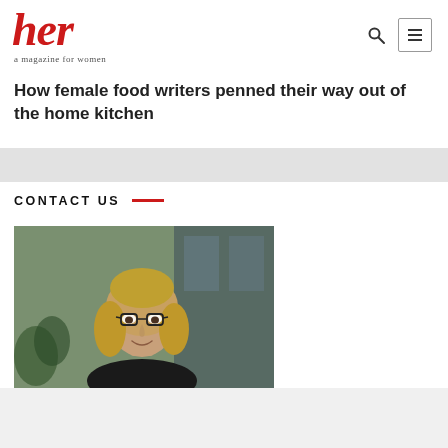her — a magazine for women
How female food writers penned their way out of the home kitchen
CONTACT US
[Figure (photo): Portrait photo of a woman with blonde hair, glasses, and a black turtleneck, smiling in an indoor/outdoor setting]